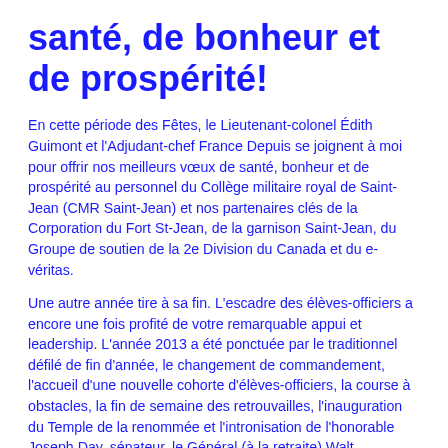santé, de bonheur et de prospérité!
En cette période des Fêtes, le Lieutenant-colonel Édith Guimont et l'Adjudant-chef France Depuis se joignent à moi pour offrir nos meilleurs vœux de santé, bonheur et de prospérité au personnel du Collège militaire royal de Saint-Jean (CMR Saint-Jean) et nos partenaires clés de la Corporation du Fort St-Jean, de la garnison Saint-Jean, du Groupe de soutien de la 2e Division du Canada et du e-véritas.
Une autre année tire à sa fin. L'escadre des élèves-officiers a encore une fois profité de votre remarquable appui et leadership. L'année 2013 a été ponctuée par le traditionnel défilé de fin d'année, le changement de commandement, l'accueil d'une nouvelle cohorte d'élèves-officiers, la course à obstacles, la fin de semaine des retrouvailles, l'inauguration du Temple de la renommée et l'intronisation de l'honorable Joseph Day, sénateur, le Général (à la retraite) Walt Natynczyk, Lieutenant-général (à la retraite) Richard Eyraire, et M.